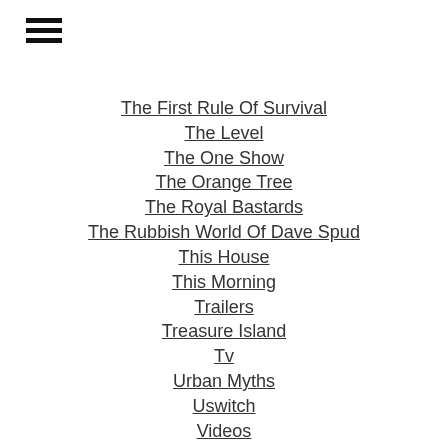[Figure (other): Hamburger menu icon with three horizontal bars]
The First Rule Of Survival
The Level
The One Show
The Orange Tree
The Royal Bastards
The Rubbish World Of Dave Spud
This House
This Morning
Trailers
Treasure Island
Tv
Urban Myths
Uswitch
Videos
Voiceovers
What The Killer Did Next